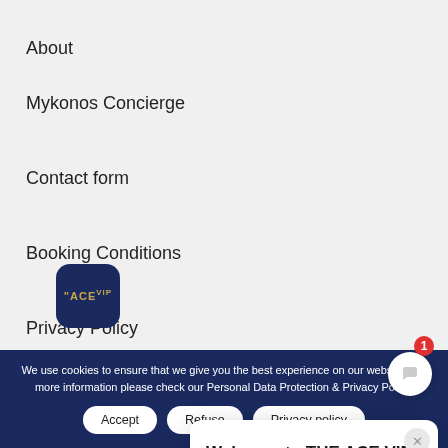About
Mykonos Concierge
Contact form
Booking Conditions
Privacy Policy
🤖 Android App
📞 +306...
@ legen...
Address
[Figure (screenshot): Chat popup from The Ace VIP Support saying: Welcome to THE ACE VIP. We are ready to make your stay on Mykonos unforgettable! Let us know how can we assist you best? - just now]
[Figure (logo): ACE VIP logo - dark blue square with rounded corners, gold text]
We use cookies to ensure that we give you the best experience on our website. For more information please check our Personal Data Protection & Privacy Policy.
Accept
Refuse
Privacy policy